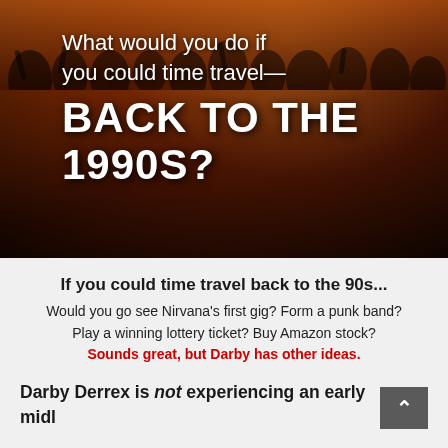[Figure (photo): A concert crowd photo with warm orange/amber tones overlaid with text: 'What would you do if you could time travel—' in white regular weight, and 'BACK TO THE 1990s?' in large bold white uppercase letters.]
If you could time travel back to the 90s...
Would you go see Nirvana's first gig? Form a punk band? Play a winning lottery ticket? Buy Amazon stock? Sounds great, but Darby has other ideas.
Darby Derrex is not experiencing an early midl